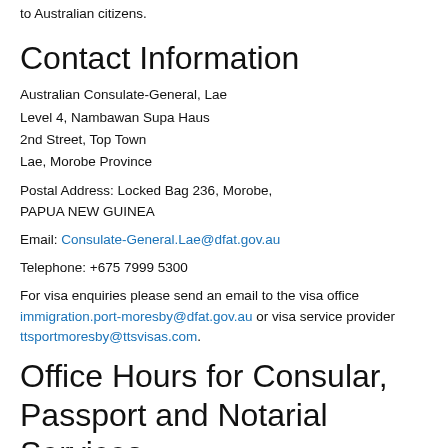to Australian citizens.
Contact Information
Australian Consulate-General, Lae
Level 4, Nambawan Supa Haus
2nd Street, Top Town
Lae, Morobe Province
Postal Address: Locked Bag 236, Morobe, PAPUA NEW GUINEA
Email: Consulate-General.Lae@dfat.gov.au
Telephone: +675 7999 5300
For visa enquiries please send an email to the visa office immigration.port-moresby@dfat.gov.au or visa service provider ttsportmoresby@ttsvisas.com.
Office Hours for Consular, Passport and Notarial Services